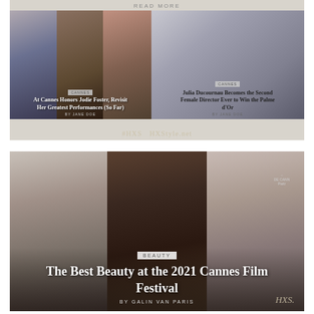[Figure (screenshot): Screenshot of a magazine website showing two article thumbnails. Left article features three photos of Jodie Foster with title 'At Cannes, Honors Jodie Foster, Revisit Her Greatest Performances (So Far)'. Right article features Julia Ducournau with title 'Julia Ducournau Becomes the Second Female Director Ever to Win the Palme d'Or'. Watermark reads '#HXS HXStyle.net'.]
[Figure (screenshot): Screenshot of a magazine website showing article 'The Best Beauty at the 2021 Cannes Film Festival' by Galin Van Paris, with three photos of women at Cannes Film Festival. Category badge reads 'BEAUTY'. Watermark reads 'HXS'.]